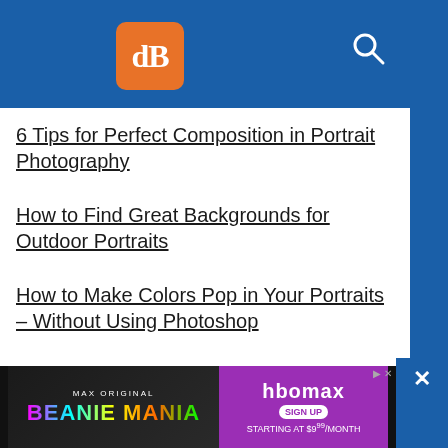[Figure (logo): dPS logo - orange rounded square with white dB letters, on blue header bar with search icon]
6 Tips for Perfect Composition in Portrait Photography
How to Find Great Backgrounds for Outdoor Portraits
How to Make Colors Pop in Your Portraits – Without Using Photoshop
How to Use Foreground Framing to Improve Your Portrait Photography
How to Use Negative Space in People Photography
3 Simple Ways to Use Framing and Layering in
[Figure (screenshot): HBO Max Beanie Mania advertisement banner at bottom of page]